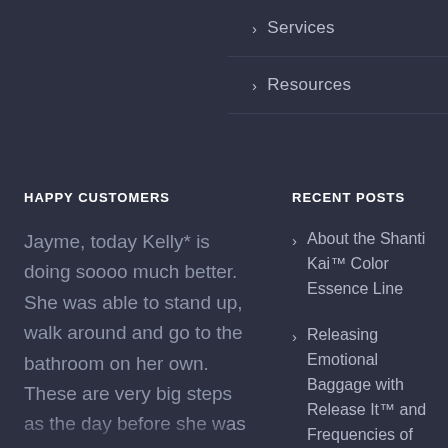> Services
> Resources
HAPPY CUSTOMERS
RECENT POSTS
Jayme, today Kelly* is doing soooo much better. She was able to stand up, walk around and go to the bathroom on her own. These are very big steps as the day before she was very weak and completely
> About the Shanti Kai™ Color Essence Line
> Releasing Emotional Baggage with Release It™ and Frequencies of White Light™ Essences